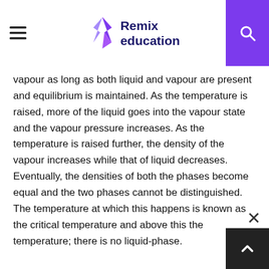Remix education
vapour as long as both liquid and vapour are present and equilibrium is maintained. As the temperature is raised, more of the liquid goes into the vapour state and the vapour pressure increases. As the temperature is raised further, the density of the vapour increases while that of liquid decreases. Eventually, the densities of both the phases become equal and the two phases cannot be distinguished. The temperature at which this happens is known as the critical temperature and above this the temperature; there is no liquid-phase.